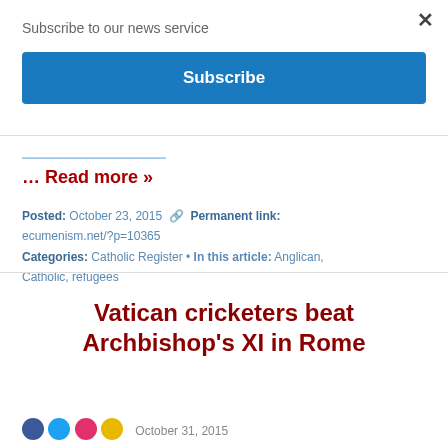Subscribe to our news service
Subscribe
… Read more »
Posted: October 23, 2015 • Permanent link: ecumenism.net/?p=10365
Categories: Catholic Register • In this article: Anglican, Catholic, refugees
Vatican cricketers beat Archbishop's XI in Rome
October 31, 2015